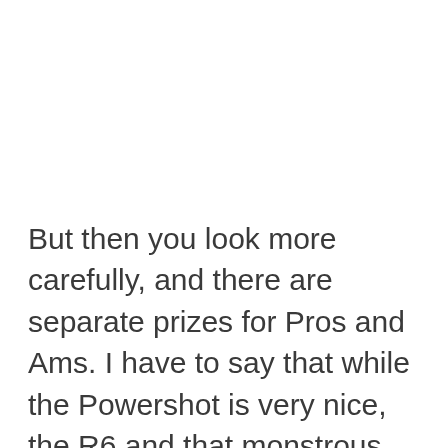But then you look more carefully, and there are separate prizes for Pros and Ams. I have to say that while the Powershot is very nice, the R6 and that monstrous 800mm lens (that's clearly not it in the image above) is far more tempting. So, do you have to be a Pro enter the Pro arm of the competition? What exactly is a Pro in this context? I regularly take